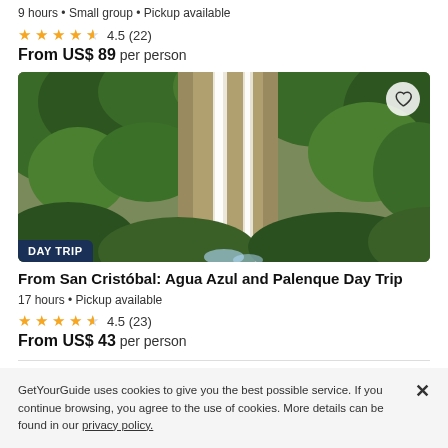9 hours • Small group • Pickup available
★★★★½ 4.5 (22)
From US$ 89 per person
[Figure (photo): Waterfall in lush green jungle/forest setting with two waterfalls visible cascading down rocky cliffs covered in dense vegetation. Badge reads DAY TRIP.]
From San Cristóbal: Agua Azul and Palenque Day Trip
17 hours • Pickup available
★★★★½ 4.5 (23)
From US$ 43 per person
GetYourGuide uses cookies to give you the best possible service. If you continue browsing, you agree to the use of cookies. More details can be found in our privacy policy.